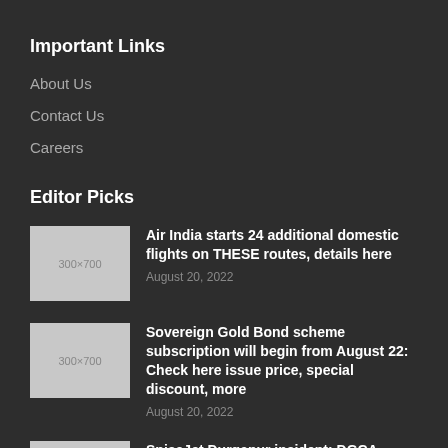Important Links
About Us
Contact Us
Careers
Editor Picks
[Figure (photo): Placeholder thumbnail 300×700]
Air India starts 24 additional domestic flights on THESE routes, details here
August 20, 2022
[Figure (photo): Placeholder thumbnail 300×700]
Sovereign Gold Bond scheme subscription will begin from August 22: Check here issue price, special discount, more
August 20, 2022
[Figure (photo): Placeholder thumbnail 300×700]
SpiceJet Durgapur incident: DGCA suspends pilot's licence for six months